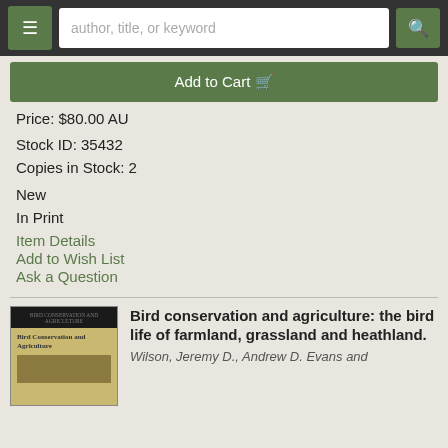author, title, or keyword
Add to Cart
Price: $80.00 AU
Stock ID: 35432
Copies in Stock: 2
New
In Print
Item Details
Add to Wish List
Ask a Question
Bird conservation and agriculture: the bird life of farmland, grassland and heathland.
Wilson, Jeremy D., Andrew D. Evans and